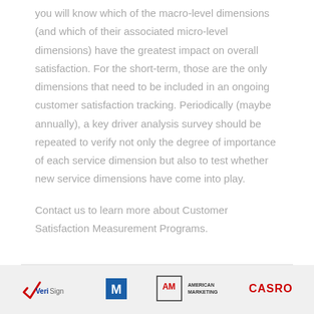you will know which of the macro-level dimensions (and which of their associated micro-level dimensions) have the greatest impact on overall satisfaction. For the short-term, those are the only dimensions that need to be included in an ongoing customer satisfaction tracking. Periodically (maybe annually), a key driver analysis survey should be repeated to verify not only the degree of importance of each service dimension but also to test whether new service dimensions have come into play.
Contact us to learn more about Customer Satisfaction Measurement Programs.
[Figure (logo): Footer logos: VeriSign, M logo, American Marketing Association, CASRO]